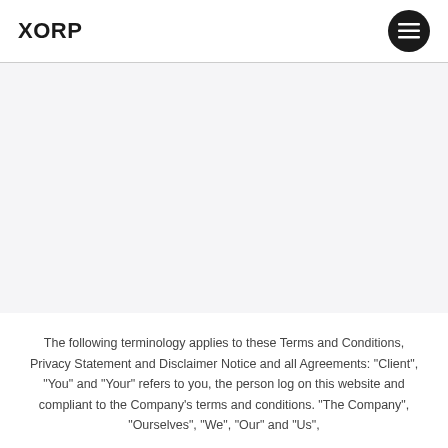XORP
The following terminology applies to these Terms and Conditions, Privacy Statement and Disclaimer Notice and all Agreements: “Client”, “You” and “Your” refers to you, the person log on this website and compliant to the Company’s terms and conditions. “The Company”, “Ourselves”, “We”, “Our” and “Us”,